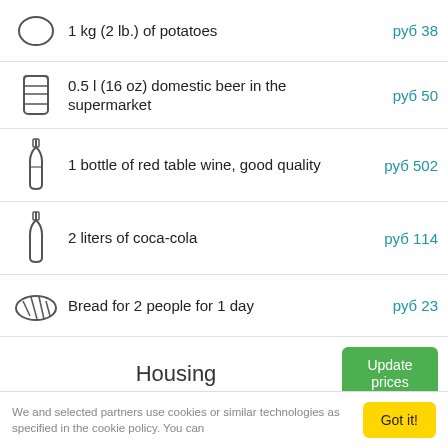1 kg (2 lb.) of potatoes
0.5 l (16 oz) domestic beer in the supermarket
1 bottle of red table wine, good quality
2 liters of coca-cola
Bread for 2 people for 1 day
Housing
Monthly rent for 85 m2 (900 sqft) furnished
We and selected partners use cookies or similar technologies as specified in the cookie policy. You can